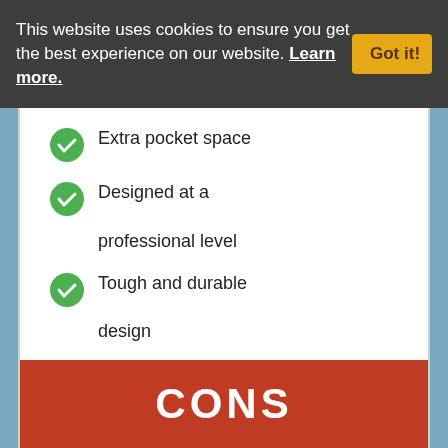This website uses cookies to ensure you get the best experience on our website. Learn more.
Extra pocket space
Designed at a professional level
Tough and durable design
Good value
CONS